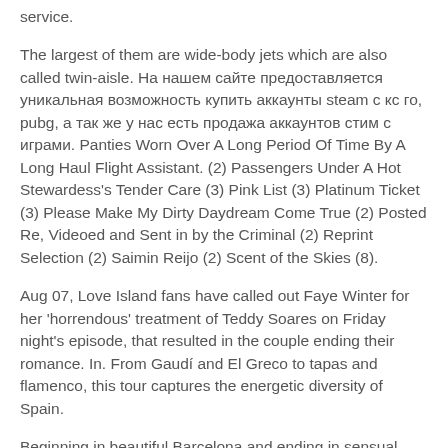service.
The largest of them are wide-body jets which are also called twin-aisle. На нашем сайте предоставляется уникальная возможность купить аккаунты steam с кс го, pubg, а так же у нас есть продажа аккаунтов стим с играми. Panties Worn Over A Long Period Of Time By A Long Haul Flight Assistant. (2) Passengers Under A Hot Stewardess's Tender Care (3) Pink List (3) Platinum Ticket (3) Please Make My Dirty Daydream Come True (2) Posted Re, Videoed and Sent in by the Criminal (2) Reprint Selection (2) Saimin Reijo (2) Scent of the Skies (8).
Aug 07, Love Island fans have called out Faye Winter for her 'horrendous' treatment of Teddy Soares on Friday night's episode, that resulted in the couple ending their romance. In. From Gaudí and El Greco to tapas and flamenco, this tour captures the energetic diversity of Spain.
Beginning in beautiful Barcelona and ending in sensual Sevilla, your Rick Steves guide will treat you to a sumptuous, two-week cultural buffet - with rich helpings of Catalunya's Gaudí, Toledo's El Greco, masterpieces of Madrid's Prado, and the Moorish a